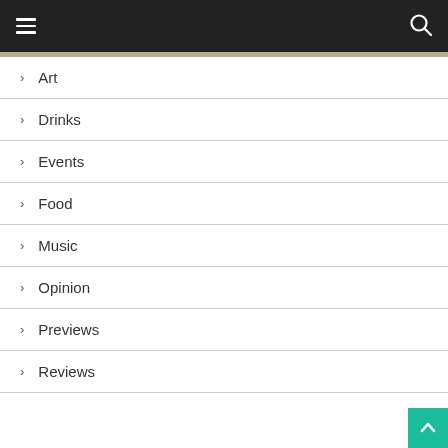Navigation menu header with hamburger icon and search icon
> Art
> Drinks
> Events
> Food
> Music
> Opinion
> Previews
> Reviews